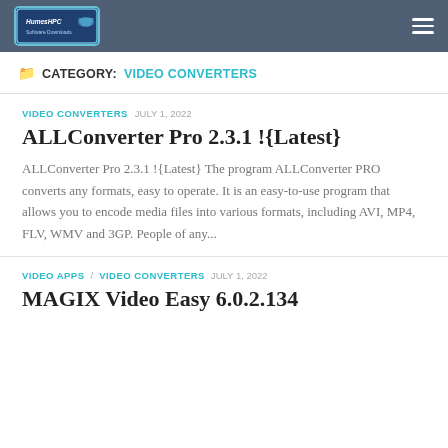Site header with logo and navigation menu
CATEGORY: VIDEO CONVERTERS
VIDEO CONVERTERS  JULY 1, 2022
ALLConverter Pro 2.3.1 !{Latest}
ALLConverter Pro 2.3.1 !{Latest} The program ALLConverter PRO converts any formats, easy to operate. It is an easy-to-use program that allows you to encode media files into various formats, including AVI, MP4, FLV, WMV and 3GP. People of any...
VIDEO APPS / VIDEO CONVERTERS  JULY 1, 2022
MAGIX Video Easy 6.0.2.134